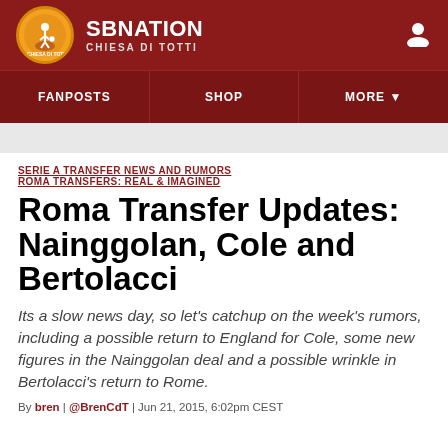SB NATION | CHIESA DI TOTTI
FANPOSTS | SHOP | MORE
SERIE A TRANSFER NEWS AND RUMORS  ROMA TRANSFERS: REAL & IMAGINED
Roma Transfer Updates: Nainggolan, Cole and Bertolacci
Its a slow news day, so let's catchup on the week's rumors, including a possible return to England for Cole, some new figures in the Nainggolan deal and a possible wrinkle in Bertolacci's return to Rome.
By bren | @BrenCdT | Jun 21, 2015, 6:02pm CEST